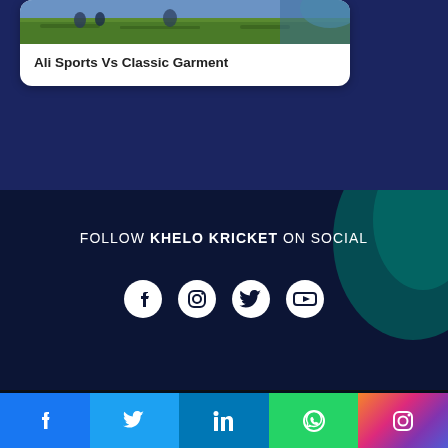[Figure (photo): Cricket match photo showing players on a green field, with a white card overlay showing article title]
Ali Sports Vs Classic Garment
FOLLOW KHELO KRICKET ON SOCIAL
[Figure (infographic): Social media icons row: Facebook, Instagram, Twitter, YouTube]
KHELO KRICKET
Men's Cricket
Women's Cricket
Tournament
[Figure (infographic): Bottom social sharing bar with Facebook, Twitter, LinkedIn, WhatsApp, Instagram icons]